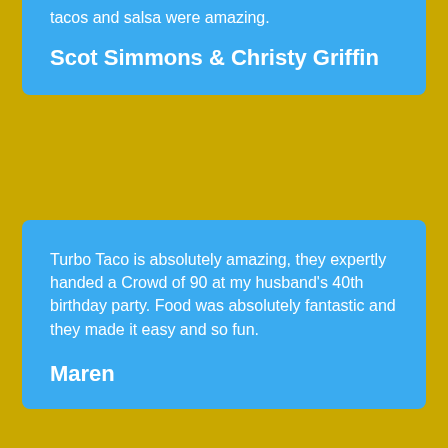tacos and salsa were amazing.
Scot Simmons & Christy Griffin
Turbo Taco is absolutely amazing, they expertly handed a Crowd of 90 at my husband's 40th birthday party. Food was absolutely fantastic and they made it easy and so fun.
Maren
Turbo Taco is THE BEST! Great food. Great service. They